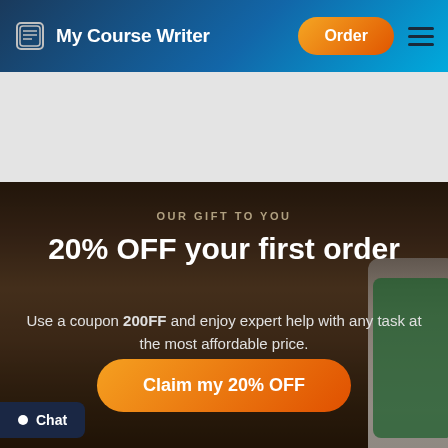My Course Writer | Order
[Figure (screenshot): Website screenshot of My Course Writer with header navigation, promotional banner offering 20% OFF first order with coupon 200OFF, and a Claim my 20% OFF button]
OUR GIFT TO YOU
20% OFF your first order
Use a coupon 200OFF and enjoy expert help with any task at the most affordable price.
Claim my 20% OFF
Chat